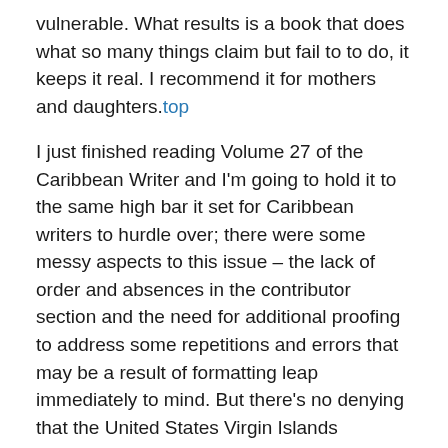vulnerable. What results is a book that does what so many things claim but fail to to do, it keeps it real. I recommend it for mothers and daughters.top
I just finished reading Volume 27 of the Caribbean Writer and I'm going to hold it to the same high bar it set for Caribbean writers to hurdle over; there were some messy aspects to this issue – the lack of order and absences in the contributor section and the need for additional proofing to address some repetitions and errors that may be a result of formatting leap immediately to mind. But there's no denying that the United States Virgin Islands publication, under the stewardship of new editor Alscess Lewis-Brown, remains the gateway for new, quality Caribbean voices. Many who themselves now set the bar among modern Caribbean writers saw some of their earliest works published here. And now we have – among